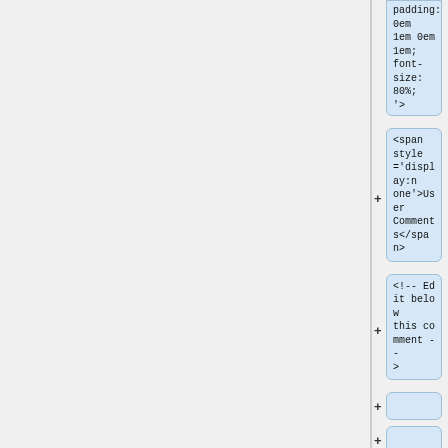[Figure (screenshot): A diff/code viewer screenshot showing a right panel with collapsible code blocks, each prefixed with a '+' button. Blocks contain HTML/CSS code snippets: 'padding: 0em 1em 0em 1em; font-size: 80%;  >', '<span style='display:none'>User Comments</span>', '<!-- Edit below this comment -->', two empty blocks, '<!-- Pod2Wiki= - ->', '</div>', and a partial '<!--' block.]
padding: 0em 1em 0em 1em; font-size: 80%; '>
<span style='display:none'>User Comments</span>
<!-- Edit below this comment -->
<!-- Pod2Wiki= - ->
</div>
<!--